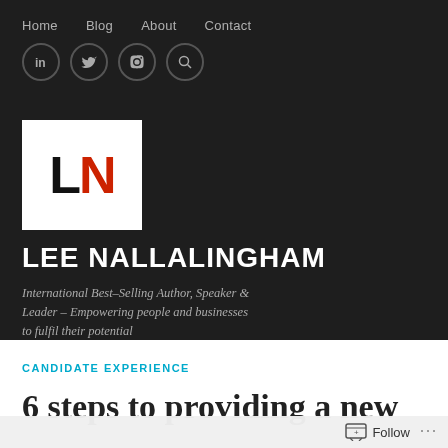Home  Blog  About  Contact
[Figure (logo): LN logo — white square with black L and red N letters, bold sans-serif]
LEE NALLALINGHAM
International Best-Selling Author, Speaker & Leader – Empowering people and businesses to fulfil their potential
CANDIDATE EXPERIENCE
6 steps to providing a new